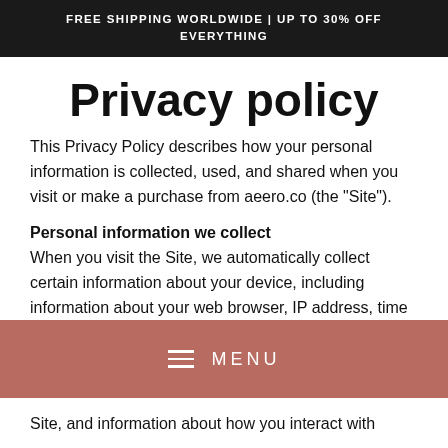FREE SHIPPING WORLDWIDE | UP TO 30% OFF EVERYTHING
Privacy policy
This Privacy Policy describes how your personal information is collected, used, and shared when you visit or make a purchase from aeero.co (the “Site”).
Personal information we collect
When you visit the Site, we automatically collect certain information about your device, including information about your web browser, IP address, time zone, and some of the cookies that are installed on your device. Additionally, as you
[Figure (other): Mobile navigation menu bar with hamburger icon and MENU text on a muted red/terracotta background]
Site, and information about how you interact with